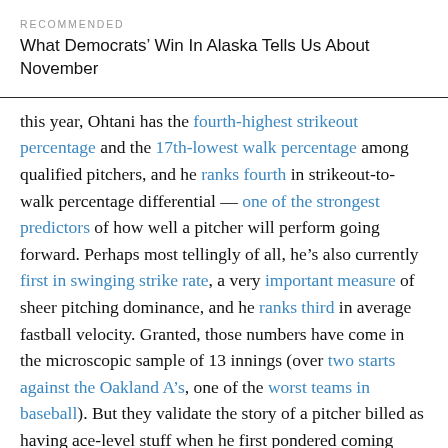RECOMMENDED
What Democrats’ Win In Alaska Tells Us About November
this year, Ohtani has the fourth-highest strikeout percentage and the 17th-lowest walk percentage among qualified pitchers, and he ranks fourth in strikeout-to-walk percentage differential — one of the strongest predictors of how well a pitcher will perform going forward. Perhaps most tellingly of all, he’s also currently first in swinging strike rate, a very important measure of sheer pitching dominance, and he ranks third in average fastball velocity. Granted, those numbers have come in the microscopic sample of 13 innings (over two starts against the Oakland A’s, one of the worst teams in baseball). But they validate the story of a pitcher billed as having ace-level stuff when he first pondered coming over from Japan.
Ohtani’s...